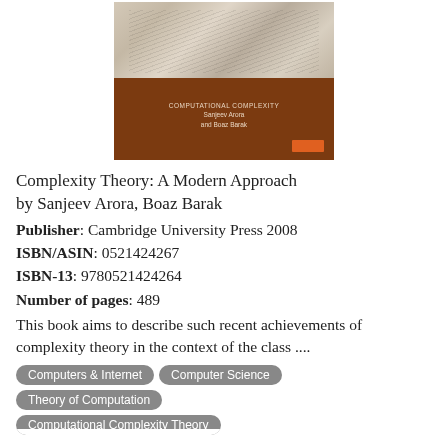[Figure (photo): Book cover of 'Complexity Theory: A Modern Approach' by Sanjeev Arora and Boaz Barak. Dark brown/orange background with an image of stacked open book pages at the top, authors' names at the bottom in light text, and a small orange button.]
Complexity Theory: A Modern Approach by Sanjeev Arora, Boaz Barak
Publisher: Cambridge University Press 2008
ISBN/ASIN: 0521424267
ISBN-13: 9780521424264
Number of pages: 489
This book aims to describe such recent achievements of complexity theory in the context of the class ....
Computers & Internet
Computer Science
Theory of Computation
Computational Complexity Theory